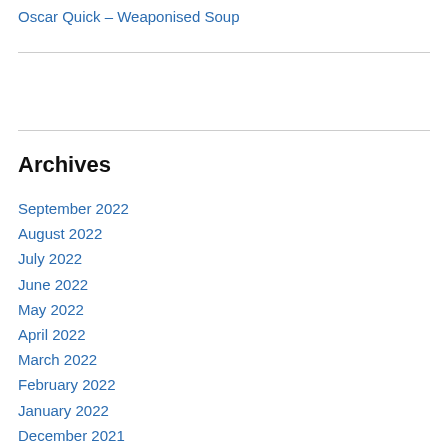Oscar Quick – Weaponised Soup
Archives
September 2022
August 2022
July 2022
June 2022
May 2022
April 2022
March 2022
February 2022
January 2022
December 2021
November 2021
October 2021
September 2021